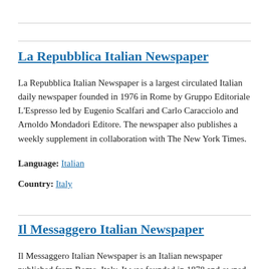La Repubblica Italian Newspaper
La Repubblica Italian Newspaper is a largest circulated Italian daily newspaper founded in 1976 in Rome by Gruppo Editoriale L'Espresso led by Eugenio Scalfari and Carlo Caracciolo and Arnoldo Mondadori Editore. The newspaper also publishes a weekly supplement in collaboration with The New York Times.
Language: Italian
Country: Italy
Il Messaggero Italian Newspaper
Il Messaggero Italian Newspaper is an Italian newspaper published from Rome, Italy. It was founded in 1878 and owned